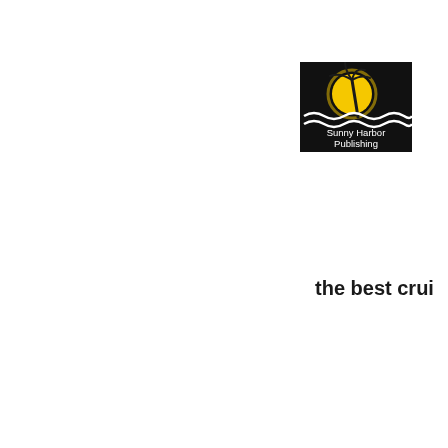[Figure (logo): Sunny Harbor Publishing logo: black background with yellow sun and palm tree silhouette above stylized waves, white text reading 'Sunny Harbor Publishing']
the best crui